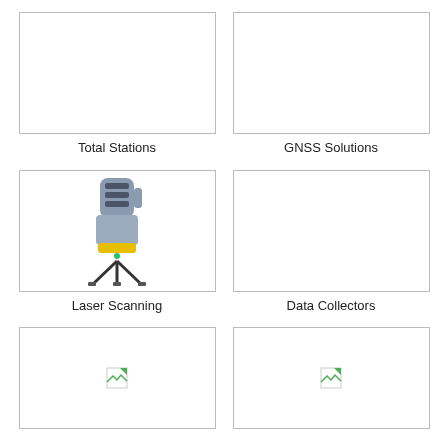[Figure (photo): Total Stations product image placeholder (white box)]
Total Stations
[Figure (photo): GNSS Solutions product image placeholder (white box)]
GNSS Solutions
[Figure (photo): Laser scanning device on tripod - grey and yellow instrument, Trimble brand]
Laser Scanning
[Figure (photo): Data Collectors product image placeholder (white box)]
Data Collectors
[Figure (photo): Product image placeholder with small broken image icon]
[Figure (photo): Product image placeholder with small broken image icon]